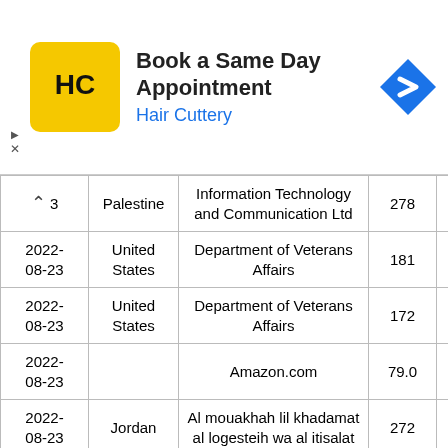[Figure (screenshot): Hair Cuttery advertisement banner: 'Book a Same Day Appointment', Hair Cuttery logo in yellow square, blue navigation icon on right.]
| Date | Country | Organization | Count |  |
| --- | --- | --- | --- | --- |
| [^]  3 | Palestine | Information Technology and Communication Ltd | 278 |  |
| 2022-08-23 | United States | Department of Veterans Affairs | 181 |  |
| 2022-08-23 | United States | Department of Veterans Affairs | 172 |  |
| 2022-08-23 |  | Amazon.com | 79.0 |  |
| 2022-08-23 | Jordan | Al mouakhah lil khadamat al logesteih wa al itisalat | 272 |  |
| 2022- | United | Department of Veterans |  |  |